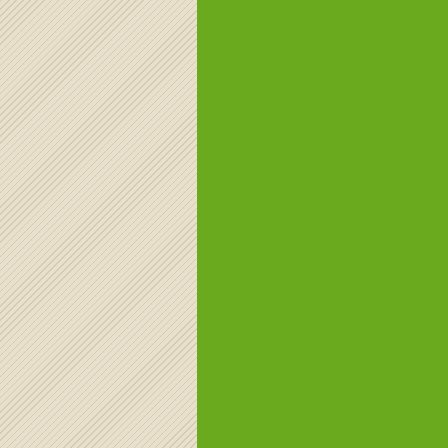Em: 13/12
aunty sex
[url="https...
android se...
Ronaldno
Em: 13/12
playing ga...
[url="https...
sex games...
BrianHof
Em: 13/12
viagra pills...
branded c...